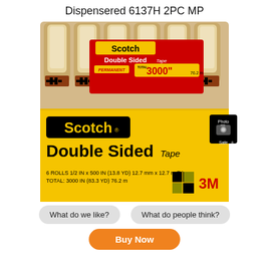Dispensered 6137H 2PC MP
[Figure (photo): Scotch Double Sided Tape Permanent 6-pack product box. The front of the yellow box shows 'Scotch Double Sided Tape' branding, '6 ROLLS 1/2 IN x 500 IN (13.8 YD) 12.7 mm x 12.7 m EA TOTAL: 3000 IN (83.3 YD) 76.2 m', a 3M logo, and a Photo Safe icon. The top of the box shows tape dispensers arranged in a row with a red label reading 'Scotch Double Sided Tape Permanent TOTAL: 3000" 76.2 m'.]
What do we like?
What do people think?
Buy Now